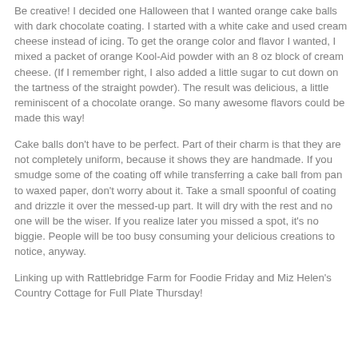Be creative! I decided one Halloween that I wanted orange cake balls with dark chocolate coating. I started with a white cake and used cream cheese instead of icing. To get the orange color and flavor I wanted, I mixed a packet of orange Kool-Aid powder with an 8 oz block of cream cheese. (If I remember right, I also added a little sugar to cut down on the tartness of the straight powder). The result was delicious, a little reminiscent of a chocolate orange. So many awesome flavors could be made this way!
Cake balls don't have to be perfect. Part of their charm is that they are not completely uniform, because it shows they are handmade. If you smudge some of the coating off while transferring a cake ball from pan to waxed paper, don't worry about it. Take a small spoonful of coating and drizzle it over the messed-up part. It will dry with the rest and no one will be the wiser. If you realize later you missed a spot, it's no biggie. People will be too busy consuming your delicious creations to notice, anyway.
Linking up with Rattlebridge Farm for Foodie Friday and Miz Helen's Country Cottage for Full Plate Thursday!